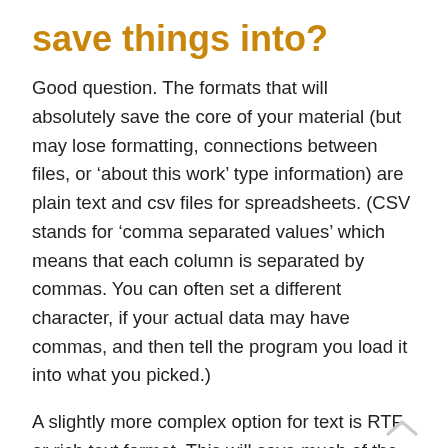save things into?
Good question. The formats that will absolutely save the core of your material (but may lose formatting, connections between files, or ‘about this work’ type information) are plain text and csv files for spreadsheets. (CSV stands for ‘comma separated values’ which means that each column is separated by commas. You can often set a different character, if your actual data may have commas, and then tell the program you load it into what you picked.)
A slightly more complex option for text is RTF or rich text format. This will save much of the formatting for you, but it may add glitches or not include some specialised formatting .